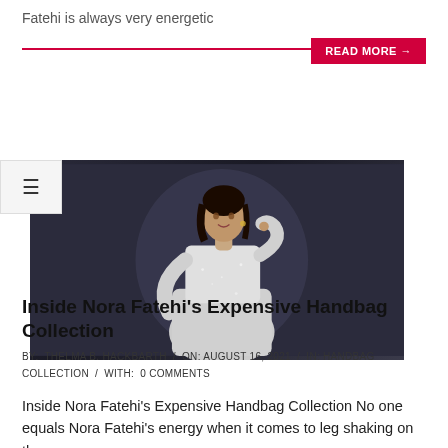Fatehi is always very energetic
READ MORE →
[Figure (photo): A woman in a white sparkly dress posing against a dark grey background, with a hamburger menu icon overlay on the left.]
Inside Nora Fatehi's Expensive Handbag Collection
BY: THELMA B. HACKBARTH / ON: AUGUST 16, 2021 / IN: HANDBAG COLLECTION / WITH: 0 COMMENTS
Inside Nora Fatehi's Expensive Handbag Collection No one equals Nora Fatehi's energy when it comes to leg shaking on the